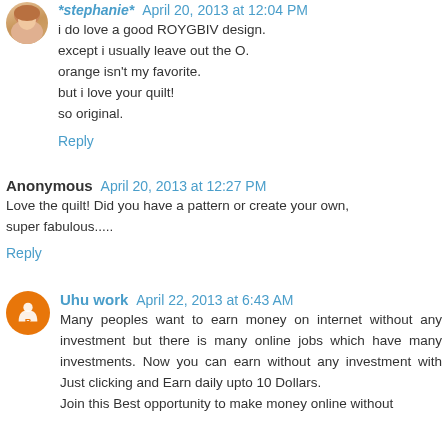*stephanie* April 20, 2013 at 12:04 PM
i do love a good ROYGBIV design.
except i usually leave out the O.
orange isn't my favorite.
but i love your quilt!
so original.
Reply
Anonymous April 20, 2013 at 12:27 PM
Love the quilt! Did you have a pattern or create your own, super fabulous.....
Reply
Uhu work April 22, 2013 at 6:43 AM
Many peoples want to earn money on internet without any investment but there is many online jobs which have many investments. Now you can earn without any investment with Just clicking and Earn daily upto 10 Dollars.
Join this Best opportunity to make money online without